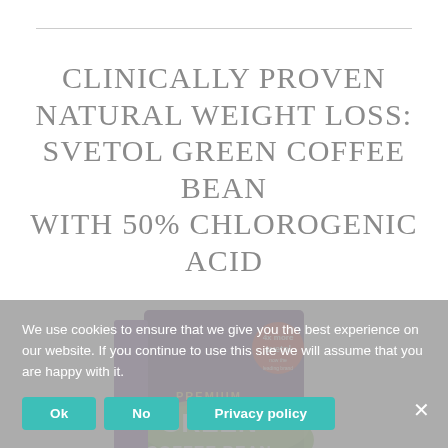CLINICALLY PROVEN NATURAL WEIGHT LOSS: SVETOL GREEN COFFEE BEAN WITH 50% CHLOROGENIC ACID
[Figure (photo): Product box of Premium Green Coffee Bean supplement with Svetol branding, showing '4x more svetol' badge on a purple and green box]
We use cookies to ensure that we give you the best experience on our website. If you continue to use this site we will assume that you are happy with it.
Ok
No
Privacy policy